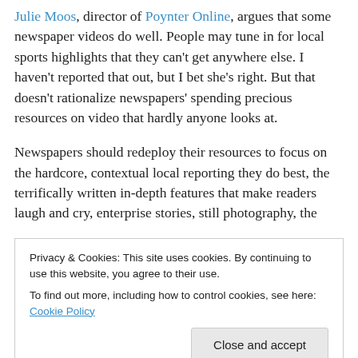Julie Moos, director of Poynter Online, argues that some newspaper videos do well. People may tune in for local sports highlights that they can't get anywhere else. I haven't reported that out, but I bet she's right. But that doesn't rationalize newspapers' spending precious resources on video that hardly anyone looks at.
Newspapers should redeploy their resources to focus on the hardcore, contextual local reporting they do best, the terrifically written in-depth features that make readers laugh and cry, enterprise stories, still photography, the
Privacy & Cookies: This site uses cookies. By continuing to use this website, you agree to their use.
To find out more, including how to control cookies, see here: Cookie Policy